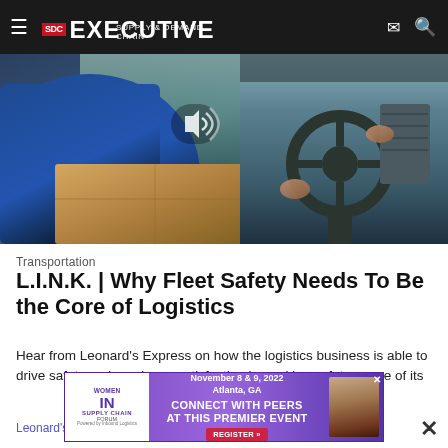Supply & Demand Chain Executive
[Figure (photo): A delivery driver in a blue shirt carrying a cardboard box, sitting inside a vehicle near the steering wheel, shot from outside the vehicle.]
Transportation
L.I.N.K. | Why Fleet Safety Needs To Be the Core of Logistics
Hear from Leonard's Express on how the logistics business is able to drive safety and employee satisfaction by making safety a core of its
Leonard's Express | April 26, 2022